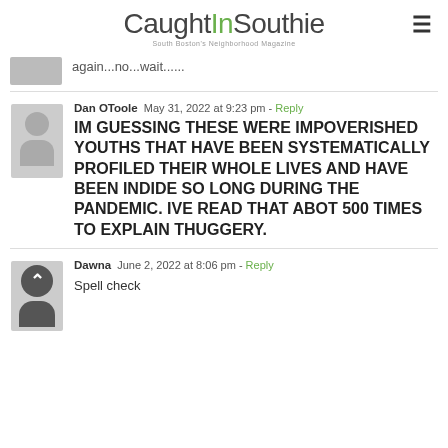CaughtInSouthie — South Boston's Neighborhood Magazine
again...no...wait......
Dan OToole  May 31, 2022 at 9:23 pm - Reply
IM GUESSING THESE WERE IMPOVERISHED YOUTHS THAT HAVE BEEN SYSTEMATICALLY PROFILED THEIR WHOLE LIVES AND HAVE BEEN INDIDE SO LONG DURING THE PANDEMIC. IVE READ THAT ABOT 500 TIMES TO EXPLAIN THUGGERY.
Dawna  June 2, 2022 at 8:06 pm - Reply
Spell check